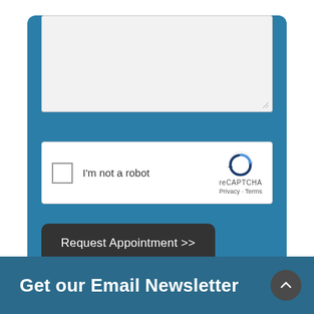[Figure (screenshot): Textarea input field at top of appointment form, shown partially with a resize handle in bottom-right corner]
[Figure (screenshot): Google reCAPTCHA widget with checkbox labeled 'I'm not a robot', showing reCAPTCHA logo, Privacy and Terms links]
Request Appointment >>
Get our Email Newsletter